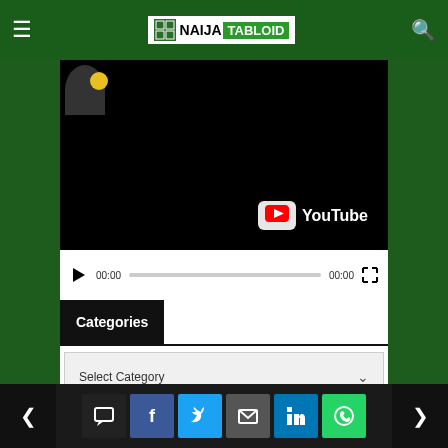Naija Tabloid
[Figure (screenshot): YouTube video player thumbnail showing a dark/black video with YouTube logo watermark at bottom right, and a partial image of a figure at top left]
00:00   00:00
Categories
Select Category
Newsletter
Your FullName*
< comment facebook twitter mail linkedin whatsapp >